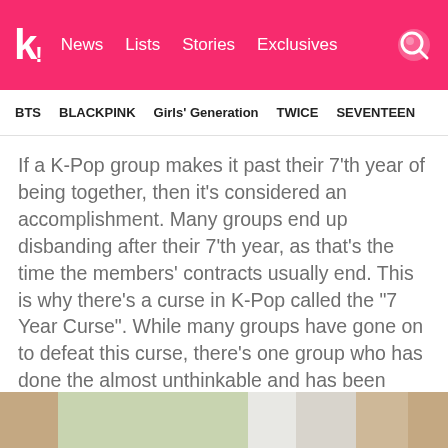k! News Lists Stories Exclusives
BTS  BLACKPINK  Girls' Generation  TWICE  SEVENTEEN
If a K-Pop group makes it past their 7'th year of being together, then it's considered an accomplishment. Many groups end up disbanding after their 7'th year, as that's the time the members' contracts usually end. This is why there's a curse in K-Pop called the “7 Year Curse". While many groups have gone on to defeat this curse, there’s one group who has done the almost unthinkable and has been active for over 2 decades!
[Figure (photo): Partial photo strip at bottom of page showing blurred indoor/outdoor scene]